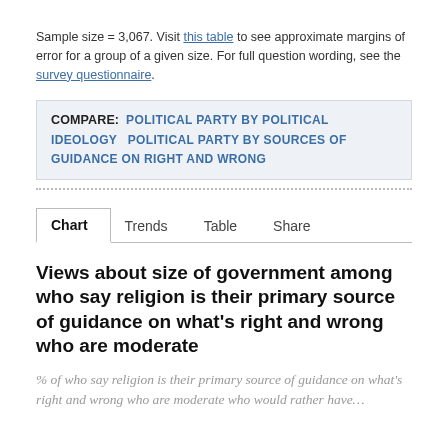Sample size = 3,067. Visit this table to see approximate margins of error for a group of a given size. For full question wording, see the survey questionnaire.
COMPARE: POLITICAL PARTY BY POLITICAL IDEOLOGY   POLITICAL PARTY BY SOURCES OF GUIDANCE ON RIGHT AND WRONG
Chart   Trends   Table   Share
Views about size of government among who say religion is their primary source of guidance on what's right and wrong who are moderate
% of who say religion is their primary source of guidance on what's right and wrong who are moderate who would rather have…